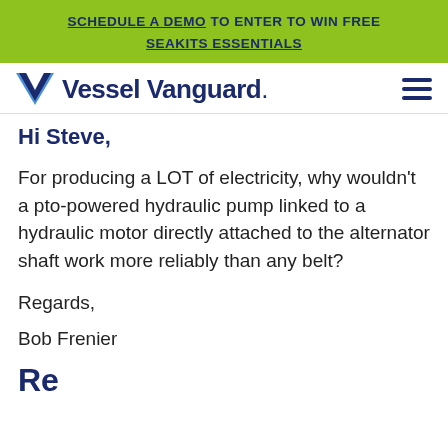SCHEDULE A DEMO TO ENTER TO WIN FREE SEAKITS ESSENTIALS
[Figure (logo): Vessel Vanguard logo with V checkmark icon and navigation hamburger menu]
Hi Steve,
For producing a LOT of electricity, why wouldn't a pto-powered hydraulic pump linked to a hydraulic motor directly attached to the alternator shaft work more reliably than any belt?
Regards,
Bob Frenier
Re